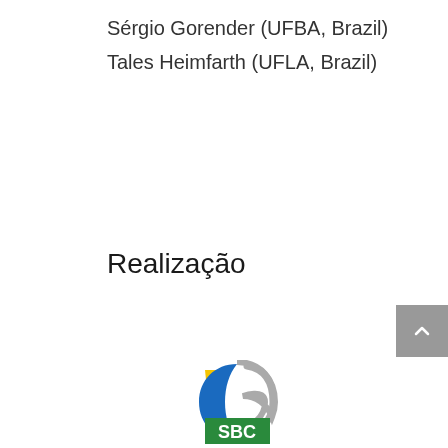Sérgio Gorender (UFBA, Brazil)
Tales Heimfarth (UFLA, Brazil)
Realização
[Figure (logo): SBC (Sociedade Brasileira de Computação) logo — blue crescent arc, yellow triangle, gray arc, green rectangle with 'SBC' text in white]